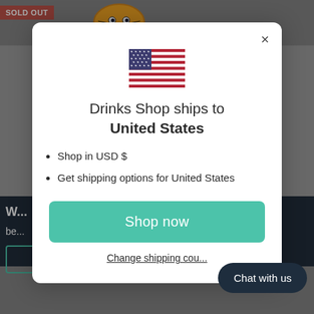[Figure (screenshot): Website background showing a blurred e-commerce page with a 'SOLD OUT' banner and a tiger logo, with dark navy footer area]
[Figure (illustration): US flag icon centered in modal]
Drinks Shop ships to United States
Shop in USD $
Get shipping options for United States
Shop now
Change shipping country
Chat with us